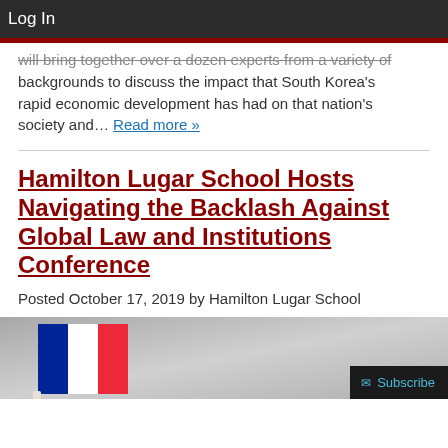Log In
will bring together over a dozen experts from a variety of backgrounds to discuss the impact that South Korea's rapid economic development has had on that nation's society and… Read more »
Hamilton Lugar School Hosts Navigating the Backlash Against Global Law and Institutions Conference
Posted October 17, 2019 by Hamilton Lugar School
[Figure (photo): Photo of a person holding a French flag (blue, white, red) against a gray background, with a Subscribe button overlay in the bottom right corner.]